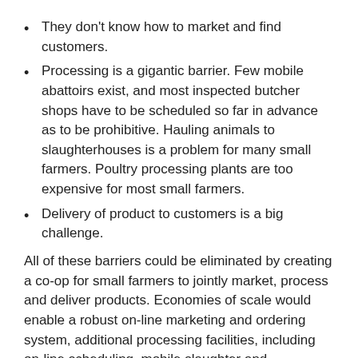They don't know how to market and find customers.
Processing is a gigantic barrier. Few mobile abattoirs exist, and most inspected butcher shops have to be scheduled so far in advance as to be prohibitive. Hauling animals to slaughterhouses is a problem for many small farmers. Poultry processing plants are too expensive for most small farmers.
Delivery of product to customers is a big challenge.
All of these barriers could be eliminated by creating a co-op for small farmers to jointly market, process and deliver products. Economies of scale would enable a robust on-line marketing and ordering system, additional processing facilities, including on-line scheduling, mobile slaughter and processing, and efficient delivery. Finding reasonably-priced organic feed is also a challenge that could be alleviated via a co-op.
It is not yet effective but there are some possibilities and...